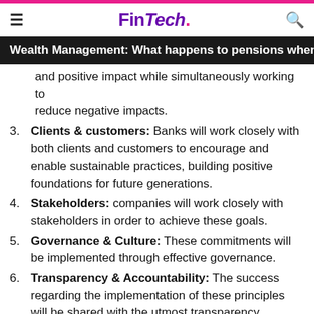FinTech.
Wealth Management: What happens to pensions when y…
and positive impact while simultaneously working to reduce negative impacts.
3. Clients & customers: Banks will work closely with both clients and customers to encourage and enable sustainable practices, building positive foundations for future generations.
4. Stakeholders: companies will work closely with stakeholders in order to achieve these goals.
5. Governance & Culture: These commitments will be implemented through effective governance.
6. Transparency & Accountability: The success regarding the implementation of these principles will be shared with the utmost transparency.